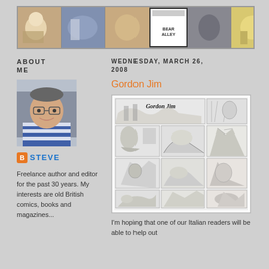[Figure (illustration): Bear Alley blog header banner showing a collage of comic strip illustrations and artwork in multiple panels, with a central 'Bear Alley' logo]
ABOUT ME
WEDNESDAY, MARCH 26, 2008
[Figure (photo): Profile photo of Steve, a man wearing glasses and a blue and white striped shirt]
STEVE
Freelance author and editor for the past 30 years. My interests are old British comics, books and magazines...
Gordon Jim
[Figure (illustration): Gordon Jim comic strip page showing black and white comic panels with a title banner and action scenes]
I'm hoping that one of our Italian readers will be able to help out